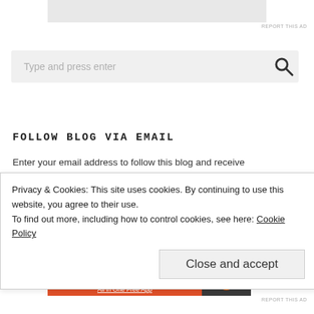[Figure (other): Top advertisement placeholder banner (gray rectangle)]
REPORT THIS AD
[Figure (screenshot): Search box with placeholder text 'Type and press enter' and a search icon (magnifying glass)]
FOLLOW BLOG VIA EMAIL
Enter your email address to follow this blog and receive
Privacy & Cookies: This site uses cookies. By continuing to use this website, you agree to their use.
To find out more, including how to control cookies, see here: Cookie Policy
Close and accept
Advertisements
[Figure (other): DuckDuckGo advertisement banner: orange background with text 'Search, browse, and email with more privacy. All in One Free App' and DuckDuckGo logo on dark right side]
REPORT THIS AD